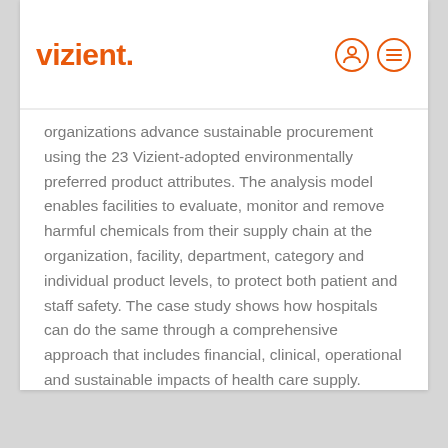vizient.
organizations advance sustainable procurement using the 23 Vizient-adopted environmentally preferred product attributes. The analysis model enables facilities to evaluate, monitor and remove harmful chemicals from their supply chain at the organization, facility, department, category and individual product levels, to protect both patient and staff safety. The case study shows how hospitals can do the same through a comprehensive approach that includes financial, clinical, operational and sustainable impacts of health care supply.